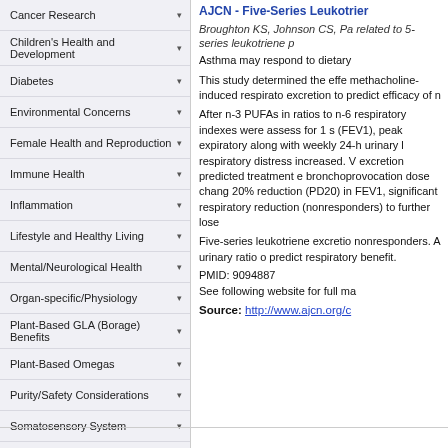Cancer Research
Children's Health and Development
Diabetes
Environmental Concerns
Female Health and Reproduction
Immune Health
Inflammation
Lifestyle and Healthy Living
Mental/Neurological Health
Organ-specific/Physiology
Plant-Based GLA (Borage) Benefits
Plant-Based Omegas
Purity/Safety Considerations
Somatosensory System
Veterinary Research / Canine & Feline & other
Vitamin A Research
Vitamin D Research
Vitamin E Research
AJCN - Five-Series Leukotrier
Broughton KS, Johnson CS, Pa related to 5-series leukotriene p
Asthma may respond to dietary
This study determined the effe methacholine-induced respirato excretion to predict efficacy of n
After n-3 PUFAs in ratios to n-6 respiratory indexes were assess for 1 s (FEV1), peak expiratory along with weekly 24-h urinary l respiratory distress increased. V excretion predicted treatment e bronchoprovocation dose chang 20% reduction (PD20) in FEV1, significant respiratory reduction (nonresponders) to further lose
Five-series leukotriene excretio nonresponders. A urinary ratio o predict respiratory benefit.
PMID: 9094887
See following website for full ma
Source: http://www.ajcn.org/c